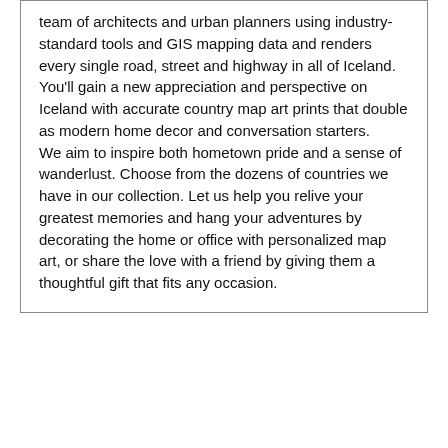team of architects and urban planners using industry-standard tools and GIS mapping data and renders every single road, street and highway in all of Iceland. You'll gain a new appreciation and perspective on Iceland with accurate country map art prints that double as modern home decor and conversation starters.
We aim to inspire both hometown pride and a sense of wanderlust. Choose from the dozens of countries we have in our collection. Let us help you relive your greatest memories and hang your adventures by decorating the home or office with personalized map art, or share the love with a friend by giving them a thoughtful gift that fits any occasion.